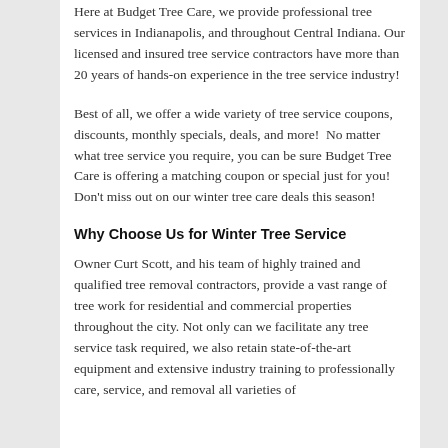Here at Budget Tree Care, we provide professional tree services in Indianapolis, and throughout Central Indiana. Our licensed and insured tree service contractors have more than 20 years of hands-on experience in the tree service industry!
Best of all, we offer a wide variety of tree service coupons, discounts, monthly specials, deals, and more!  No matter what tree service you require, you can be sure Budget Tree Care is offering a matching coupon or special just for you! Don't miss out on our winter tree care deals this season!
Why Choose Us for Winter Tree Service
Owner Curt Scott, and his team of highly trained and qualified tree removal contractors, provide a vast range of tree work for residential and commercial properties throughout the city. Not only can we facilitate any tree service task required, we also retain state-of-the-art equipment and extensive industry training to professionally care, service, and removal all varieties of